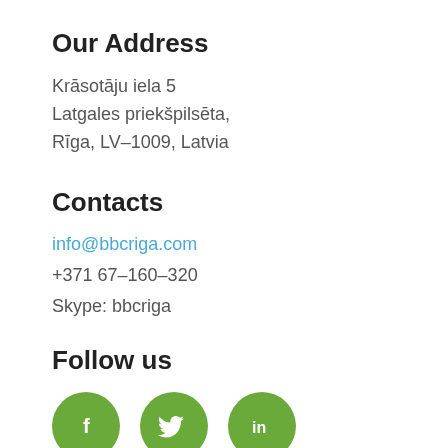Our Address
Krāsotāju iela 5
Latgales priekšpilsēta,
Rīga, LV-1009, Latvia
Contacts
info@bbcriga.com
+371 67-160-320
Skype: bbcriga
Follow us
[Figure (illustration): Three green circular social media icons: Facebook (f), Twitter (bird), LinkedIn (in)]